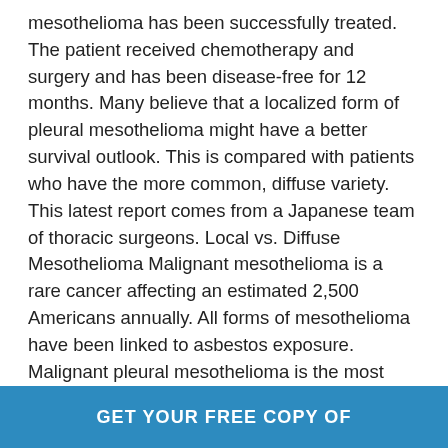mesothelioma has been successfully treated. The patient received chemotherapy and surgery and has been disease-free for 12 months. Many believe that a localized form of pleural mesothelioma might have a better survival outlook. This is compared with patients who have the more common, diffuse variety. This latest report comes from a Japanese team of thoracic surgeons. Local vs. Diffuse Mesothelioma Malignant mesothelioma is a rare cancer affecting an estimated 2,500 Americans annually. All forms of mesothelioma have been linked to asbestos exposure. Malignant pleural mesothelioma is the most common form of malignant mesothelioma. Most pleural mesothelioma patients have a type of cancer that tends to spread quickly. It spreds across the thin membrane ...
CONTINUE READING »
GET YOUR FREE COPY OF